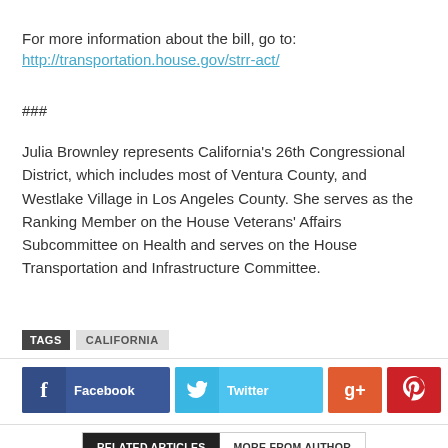For more information about the bill, go to:
http://transportation.house.gov/strr-act/
###
Julia Brownley represents California's 26th Congressional District, which includes most of Ventura County, and Westlake Village in Los Angeles County. She serves as the Ranking Member on the House Veterans' Affairs Subcommittee on Health and serves on the House Transportation and Infrastructure Committee.
TAGS  CALIFORNIA
Facebook  Twitter  G+  Pinterest
RELATED ARTICLES  MORE FROM AUTHOR